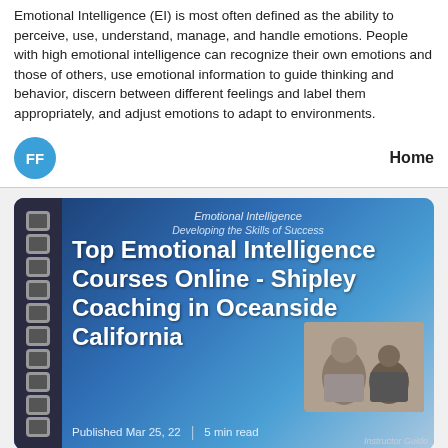Emotional Intelligence (EI) is most often defined as the ability to perceive, use, understand, manage, and handle emotions. People with high emotional intelligence can recognize their own emotions and those of others, use emotional information to guide thinking and behavior, discern between different feelings and label them appropriately, and adjust emotions to adapt to environments.
[Figure (other): Blue circular avatar with white letters FF on the left, and bold text 'Home' on the right — a navigation bar element]
[Figure (photo): Blog post card thumbnail showing a blue gradient background with a spiral notebook graphic. Title reads 'Top Emotional Intelligence Courses Online - Shipley Coaching in Oceanside California'. Subtitle text 'Emotional Intelligence' and 'Developing the Skills of Success'. Published date 'Mar 25, 22' and '5 min read'. Small inset photo of a coaching session. Label 'Instructor Guide' at bottom right.]